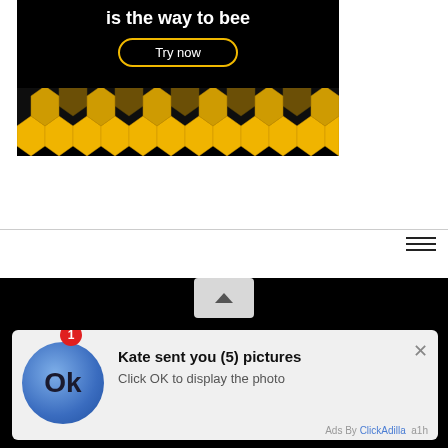[Figure (screenshot): Advertisement banner with black background showing 'is the way to bee' text, a 'Try now' button with golden border, and honeycomb pattern at bottom in yellow/gold]
[Figure (screenshot): Hamburger menu icon (three horizontal lines) on white background with a gray divider line]
[Figure (screenshot): Dark/black background section with a gray scroll-up chevron button in the center and a notification popup at the bottom. Popup shows: red badge '1', blue avatar circle with 'Ok' text, title 'Kate sent you (5) pictures', subtitle 'Click OK to display the photo', 'X' close button, and footer 'Ads By ClickAdilla a1h']